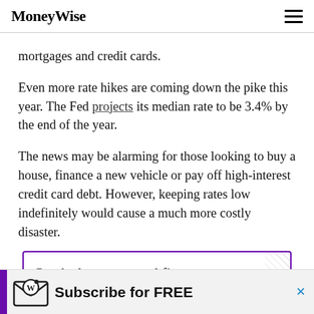MoneyWise
mortgages and credit cards.
Even more rate hikes are coming down the pike this year. The Fed projects its median rate to be 3.4% by the end of the year.
The news may be alarming for those looking to buy a house, finance a new vehicle or pay off high-interest credit card debt. However, keeping rates low indefinitely would cause a much more costly disaster.
Get the latest personal finance news sent straight to your inbox.
Subscribe for FREE